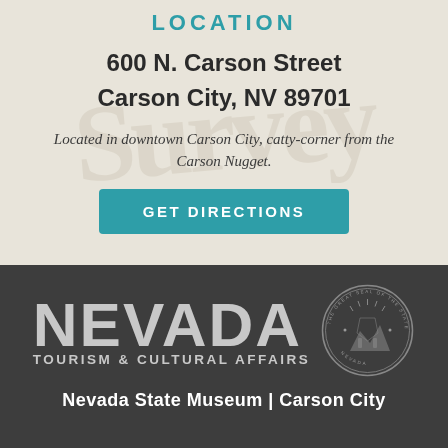LOCATION
600 N. Carson Street
Carson City, NV 89701
Located in downtown Carson City, catty-corner from the Carson Nugget.
GET DIRECTIONS
[Figure (logo): Nevada Tourism & Cultural Affairs logo with Nevada state seal]
Nevada State Museum | Carson City